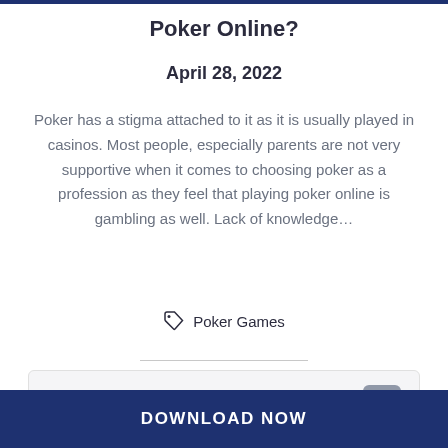Poker Online?
April 28, 2022
Poker has a stigma attached to it as it is usually played in casinos. Most people, especially parents are not very supportive when it comes to choosing poker as a profession as they feel that playing poker online is gambling as well. Lack of knowledge…
Poker Games
[Figure (other): A card/content box with a gray pill element in the top-right corner]
DOWNLOAD NOW